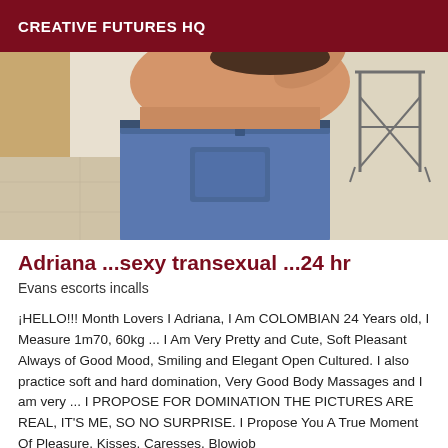CREATIVE FUTURES HQ
[Figure (photo): Partial photo of a person from behind wearing blue jeans, cropped at torso level, with a tiled floor and metal furniture visible in background.]
Adriana ...sexy transexual ...24 hr
Evans escorts incalls
¡HELLO!!! Month Lovers I Adriana, I Am COLOMBIAN 24 Years old, I Measure 1m70, 60kg ... I Am Very Pretty and Cute, Soft Pleasant Always of Good Mood, Smiling and Elegant Open Cultured. I also practice soft and hard domination, Very Good Body Massages and I am very ... I PROPOSE FOR DOMINATION THE PICTURES ARE REAL, IT'S ME, SO NO SURPRISE. I Propose You A True Moment Of Pleasure, Kisses, Caresses, Blowjob